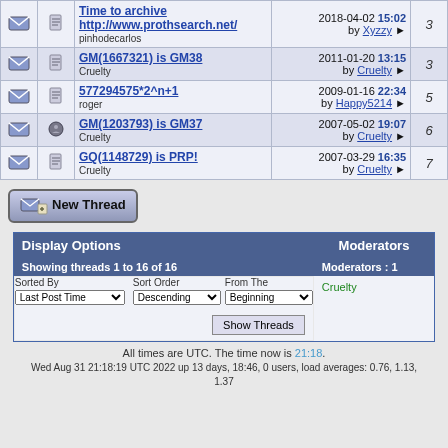|  |  | Topic | Last Post | Replies |
| --- | --- | --- | --- | --- |
|  |  | Time to archive http://www.prothsearch.net/ — pinhodecarlos | 2018-04-02 15:02 by Xyzzy | 3 |
|  |  | GM(1667321) is GM38 — Cruelty | 2011-01-20 13:15 by Cruelty | 3 |
|  |  | 577294575*2^n+1 — roger | 2009-01-16 22:34 by Happy5214 | 5 |
|  |  | GM(1203793) is GM37 — Cruelty | 2007-05-02 19:07 by Cruelty | 6 |
|  |  | GQ(1148729) is PRP! — Cruelty | 2007-03-29 16:35 by Cruelty | 7 |
| Display Options | Moderators |
| --- | --- |
| Showing threads 1 to 16 of 16 | Moderators : 1 |
| Sorted By: Last Post Time | Sort Order: Descending | From The: Beginning | Show Threads | Cruelty |
All times are UTC. The time now is 21:18.
Wed Aug 31 21:18:19 UTC 2022 up 13 days, 18:46, 0 users, load averages: 0.76, 1.13, 1.37